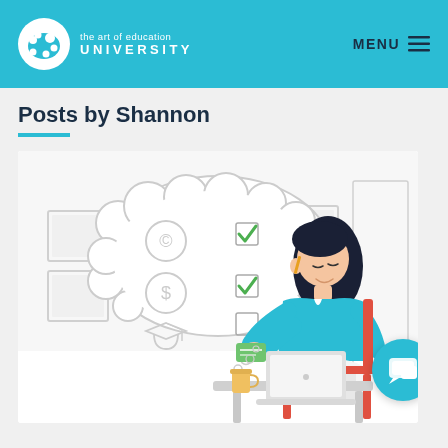[Figure (logo): The Art of Education University logo — paint palette icon and text]
MENU
Posts by Shannon
[Figure (illustration): Illustration of a woman with dark hair sitting at a desk using a laptop, with a thought bubble showing copyright icon, dollar sign, graduation cap, and two green checkboxes and one empty checkbox. She is holding a card and there is a coffee cup on the desk. Background shows framed pictures on a wall.]